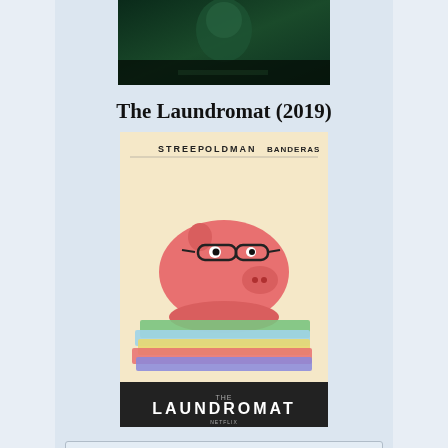[Figure (photo): Top partial movie image — dark green toned film still, cropped at top]
The Laundromat (2019)
[Figure (photo): Movie poster for The Laundromat — pink piggy bank wearing glasses sitting on colorful currency bills, with cast names STREEP, OLDMAN, BANDERAS at top and LAUNDROMAT title at bottom]
Upcoming Films:
No Sudden Move (2021)
[Figure (photo): Ad banner — BitLife Life Simulator app advertisement with red background and sperm-shaped logo]
Stehak